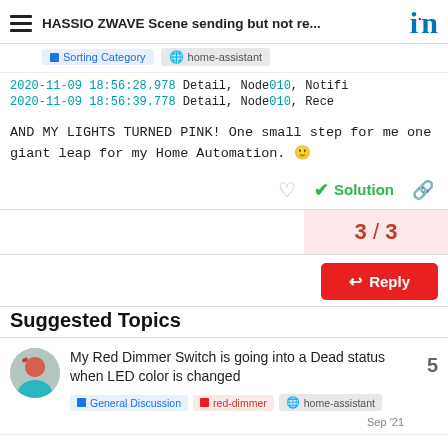HASSIO ZWAVE Scene sending but not re...
Sorting Category   home-assistant
2020-11-09 18:56:28.978 Detail, Node010, Notifi
2020-11-09 18:56:39.778 Detail, Node010,  Rece
AND MY LIGHTS TURNED PINK! One small step for me one giant leap for my Home Automation. 🙂
Solution  3 / 3  Reply
Suggested Topics
My Red Dimmer Switch is going into a Dead status when LED color is changed
General Discussion   red-dimmer   home-assistant   Sep '21